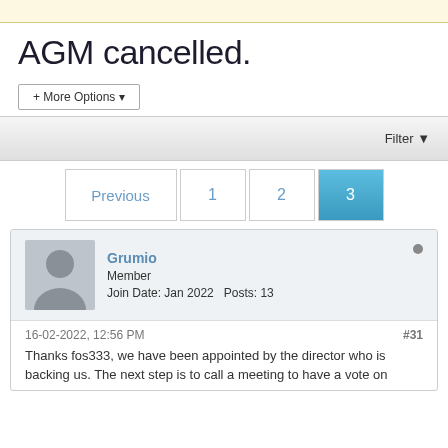AGM cancelled.
+ More Options
Filter
Previous  1  2  3
Grumio
Member
Join Date: Jan 2022   Posts: 13
16-02-2022, 12:56 PM
#31
Thanks fos333, we have been appointed by the director who is backing us. The next step is to call a meeting to have a vote on